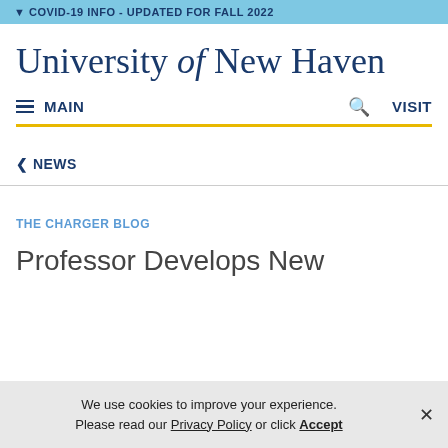COVID-19 INFO - UPDATED FOR FALL 2022
University of New Haven
MAIN  VISIT
< NEWS
THE CHARGER BLOG
Professor Develops New
We use cookies to improve your experience. Please read our Privacy Policy or click Accept